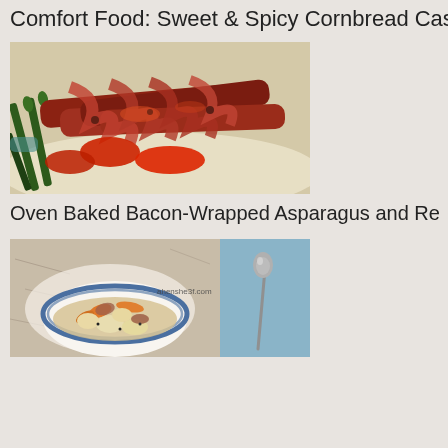Comfort Food: Sweet & Spicy Cornbread Casse...
[Figure (photo): Bacon-wrapped asparagus and red peppers on a white plate, roasted and glazed]
Oven Baked Bacon-Wrapped Asparagus and Re...
[Figure (photo): Bowl of soup/stew with ham, carrots, gnocchi or dumplings in a white bowl with blue rim; beside it a spoon on a light blue surface with text 'ahenshe3f.com']